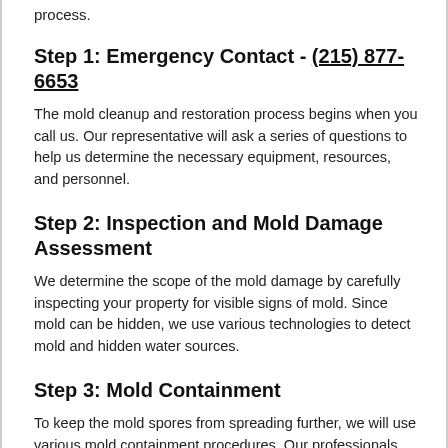process.
Step 1: Emergency Contact - (215) 877-6653
The mold cleanup and restoration process begins when you call us. Our representative will ask a series of questions to help us determine the necessary equipment, resources, and personnel.
Step 2: Inspection and Mold Damage Assessment
We determine the scope of the mold damage by carefully inspecting your property for visible signs of mold. Since mold can be hidden, we use various technologies to detect mold and hidden water sources.
Step 3: Mold Containment
To keep the mold spores from spreading further, we will use various mold containment procedures. Our professionals may use physical barriers and negative air pressure to isolate the contaminated area and to help prevent the mold spores from spreading through your Wynnefield, PA home or business. Also, we'll turn off the property's fans and heating